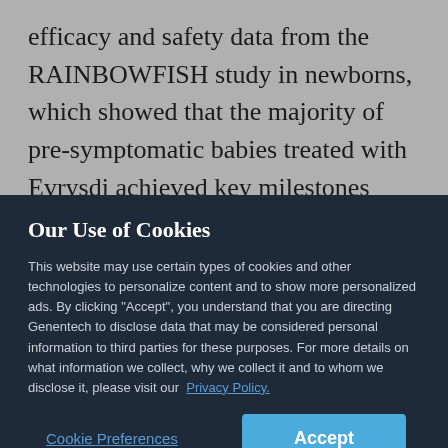efficacy and safety data from the RAINBOWFISH study in newborns, which showed that the majority of pre-symptomatic babies treated with Evrysdi achieved key milestones such as sitting and standing with half walking after 12 months of treatment. Evrysdi is now
Our Use of Cookies
This website may use certain types of cookies and other technologies to personalize content and to show more personalized ads. By clicking "Accept", you understand that you are directing Genentech to disclose data that may be considered personal information to third parties for these purposes. For more details on what information we collect, why we collect it and to whom we disclose it, please visit our Privacy Policy.